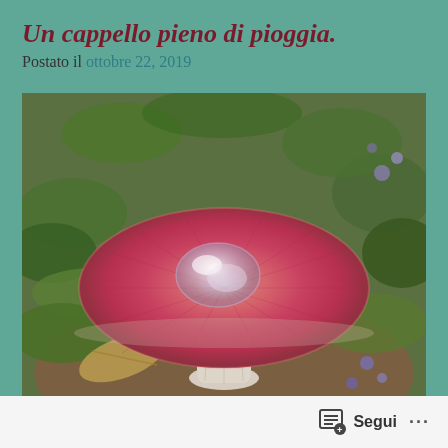Un cappello pieno di pioggia.
Postato il ottobre 22, 2019
[Figure (photo): Top-down view of a red/pink mushroom with a water droplet pooled in the center of its cap, surrounded by green forest undergrowth, leaves, and small purple flowers. Watermark text reads 'traitaliaelinlandia.com'.]
Segui